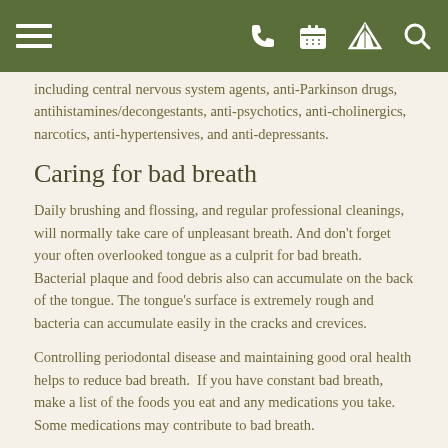including central nervous system agents, anti-Parkinson drugs, antihistamines/decongestants, anti-psychotics, anti-cholinergics, narcotics, anti-hypertensives, and anti-depressants.
Caring for bad breath
Daily brushing and flossing, and regular professional cleanings, will normally take care of unpleasant breath. And don't forget your often overlooked tongue as a culprit for bad breath. Bacterial plaque and food debris also can accumulate on the back of the tongue. The tongue's surface is extremely rough and bacteria can accumulate easily in the cracks and crevices.
Controlling periodontal disease and maintaining good oral health helps to reduce bad breath.  If you have constant bad breath, make a list of the foods you eat and any medications you take. Some medications may contribute to bad breath.
Improperly cleaned dentures can also harbor odor-causing bacteria and food particles. If you wear removable dentures, take them out